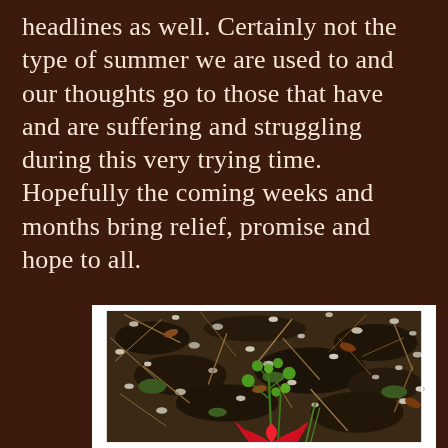headlines as well. Certainly not the type of summer we are used to and our thoughts go to those that have and are suffering and struggling during this very trying time. Hopefully the coming weeks and months bring relief, promise and hope to all.
[Figure (photo): Close-up photograph of forest floor showing dark soil, dry twigs, pebbles, moss, small green plant shoots, and bright red tulip petals at the bottom]